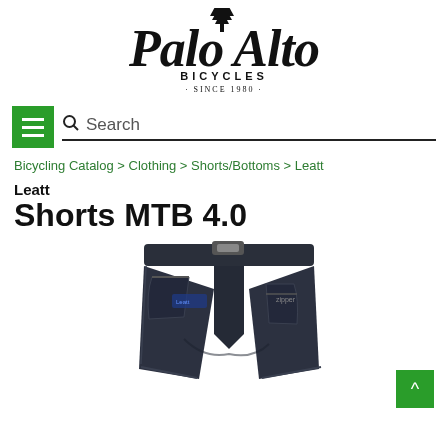[Figure (logo): Palo Alto Bicycles logo in cursive script with a redwood tree, text 'BICYCLES SINCE 1980' below]
[Figure (screenshot): Navigation bar with green hamburger menu button and search bar]
Bicycling Catalog > Clothing > Shorts/Bottoms > Leatt
Leatt
Shorts MTB 4.0
[Figure (photo): Dark navy/black MTB shorts with belt clip and zipper pockets, shown from front/side angle]